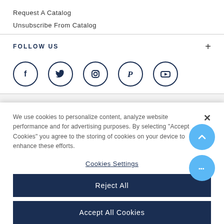Request A Catalog
Unsubscribe From Catalog
FOLLOW US
[Figure (illustration): Five social media icons in dark navy circles: Facebook (f), Twitter (bird), Instagram (camera), Pinterest (P), YouTube (play button)]
READ OUR BLOG
We use cookies to personalize content, analyze website performance and for advertising purposes. By selecting "Accept Cookies" you agree to the storing of cookies on your device to enhance these efforts.
Cookies Settings
Reject All
Accept All Cookies